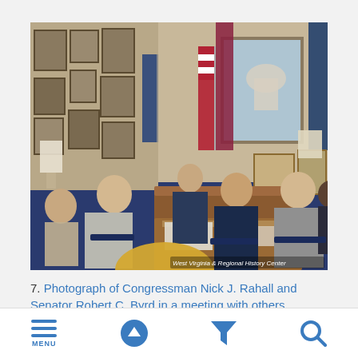[Figure (photo): A color photograph of several men seated in an office, including Congressman Nick J. Rahall and Senator Robert C. Byrd, in a meeting. The office has American flags, framed pictures on walls, and a view of what appears to be the US Capitol through a window. A watermark reads 'West Virginia & Regional History Center'.]
7. Photograph of Congressman Nick J. Rahall and Senator Robert C. Byrd in a meeting with others
MENU (navigation icons: menu, up arrow, filter, search)